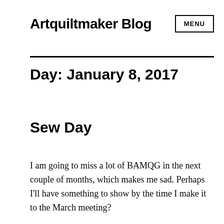Artquiltmaker Blog
Day: January 8, 2017
Sew Day
I am going to miss a lot of BAMQG in the next couple of months, which makes me sad. Perhaps I'll have something to show by the time I make it to the March meeting?